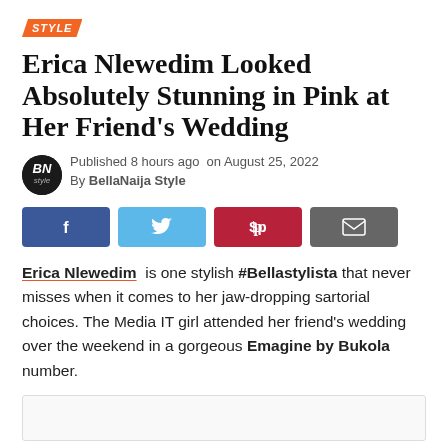STYLE
Erica Nlewedim Looked Absolutely Stunning in Pink at Her Friend's Wedding
Published 8 hours ago  on August 25, 2022
By BellaNaija Style
[Figure (infographic): Social share buttons: Facebook (blue), Twitter (light blue), Pinterest (dark red), Email (grey)]
Erica Nlewedim is one stylish #Bellastylista that never misses when it comes to her jaw-dropping sartorial choices. The Media IT girl attended her friend's wedding over the weekend in a gorgeous Emagine by Bukola number.
[Figure (photo): Image placeholder at bottom of page]